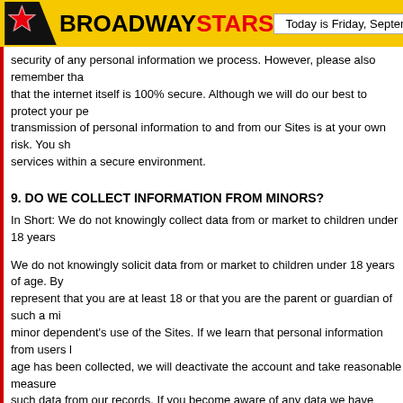BROADWAY STARS — Today is Friday, September 2, 2022
security of any personal information we process. However, please also remember that the internet itself is 100% secure. Although we will do our best to protect your personal information, transmission of personal information to and from our Sites is at your own risk. You should only access the services within a secure environment.
9. DO WE COLLECT INFORMATION FROM MINORS?
In Short: We do not knowingly collect data from or market to children under 18 years of age.
We do not knowingly solicit data from or market to children under 18 years of age. By using the Sites, you represent that you are at least 18 or that you are the parent or guardian of such a minor and consent to such minor dependent's use of the Sites. If we learn that personal information from users less than 18 years of age has been collected, we will deactivate the account and take reasonable measures to promptly delete such data from our records. If you become aware of any data we have collected from children under age 18, please contact us at hello@broadwaystars.com.
10. WHAT ARE YOUR PRIVACY RIGHTS?
In Short: You may review, change, or terminate your account at any time.
If you are resident in the European Economic Area and you believe we are unlawfully